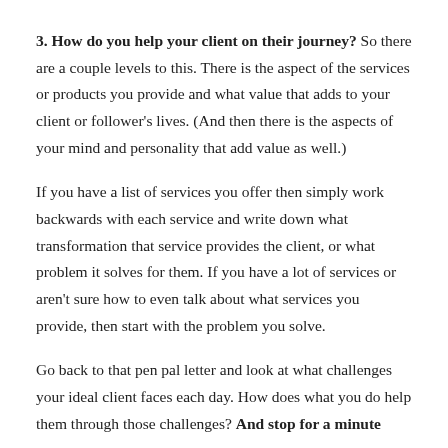3. How do you help your client on their journey? So there are a couple levels to this. There is the aspect of the services or products you provide and what value that adds to your client or follower's lives. (And then there is the aspects of your mind and personality that add value as well.)
If you have a list of services you offer then simply work backwards with each service and write down what transformation that service provides the client, or what problem it solves for them. If you have a lot of services or aren't sure how to even talk about what services you provide, then start with the problem you solve.
Go back to that pen pal letter and look at what challenges your ideal client faces each day. How does what you do help them through those challenges? And stop for a minute